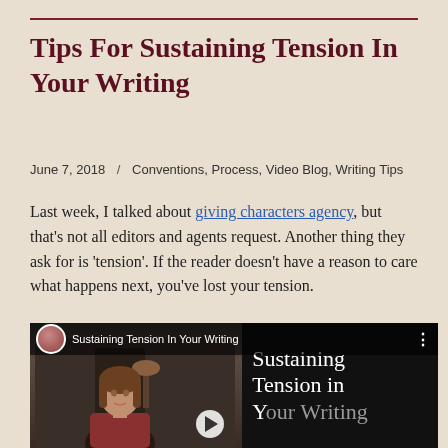Tips For Sustaining Tension In Your Writing
June 7, 2018  /  Conventions, Process, Video Blog, Writing Tips
Last week, I talked about giving characters agency, but that's not all editors and agents request. Another thing they ask for is 'tension'. If the reader doesn't have a reason to care what happens next, you've lost your tension.
[Figure (screenshot): Embedded video thumbnail showing a woman with long brown hair on the left side, and on the right a dark panel with white serif text reading 'Sustaining Tension in Your Writing'. A play button is visible. The top bar shows a profile avatar, the title 'Sustaining Tension In Your Writing', and a three-dot menu icon.]